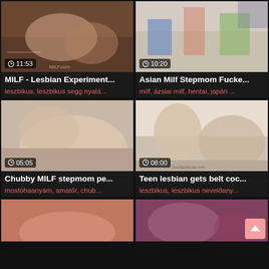[Figure (screenshot): Video thumbnail for MILF Lesbian Experiment, duration 11:53]
MILF - Lesbian Experiment...
leszbikus, leszbikus segg nyalá...
[Figure (screenshot): Video thumbnail for Asian Milf Stepmom Fucked, duration 10:20]
Asian Milf Stepmom Fucke...
milf, ázsiai milf, hentai, japán ...
[Figure (screenshot): Video thumbnail for Chubby MILF stepmom, duration 05:05]
Chubby MILF stepmom pe...
mostohaanyám, amatőr, chub...
[Figure (screenshot): Video thumbnail for Teen lesbian gets belt coc, duration 08:00]
Teen lesbian gets belt coc...
leszbikus, leszbikus nevelőany...
[Figure (screenshot): Video thumbnail partial bottom left]
[Figure (screenshot): Video thumbnail partial bottom right]